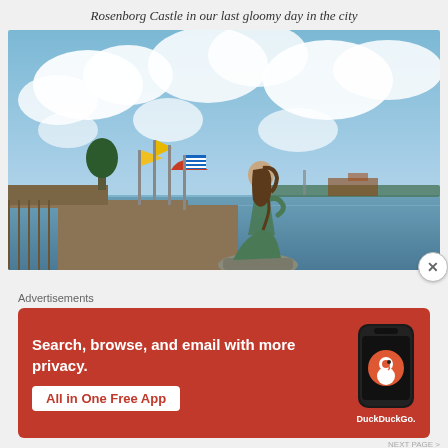Rosenborg Castle in our last gloomy day in the city
[Figure (photo): Photo of the Little Mermaid statue in Copenhagen, Denmark, seated on a rock by the waterfront with a cloudy sky, colorful flags, and a harbor in the background. A close button (X) overlays the bottom-right corner.]
Advertisements
[Figure (infographic): DuckDuckGo advertisement banner with orange-red background. Text reads: Search, browse, and email with more privacy. All in One Free App. Shows a smartphone with DuckDuckGo logo and 'DuckDuckGo.' label.]